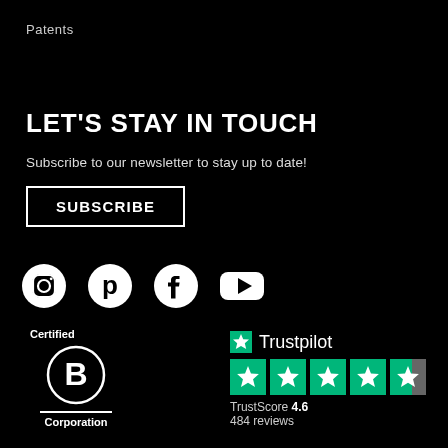Patents
LET'S STAY IN TOUCH
Subscribe to our newsletter to stay up to date!
SUBSCRIBE
[Figure (illustration): Four social media icons: Instagram, Pinterest, Facebook, YouTube]
[Figure (logo): Certified B Corporation logo]
[Figure (illustration): Trustpilot logo with 4.6 star rating and 484 reviews]